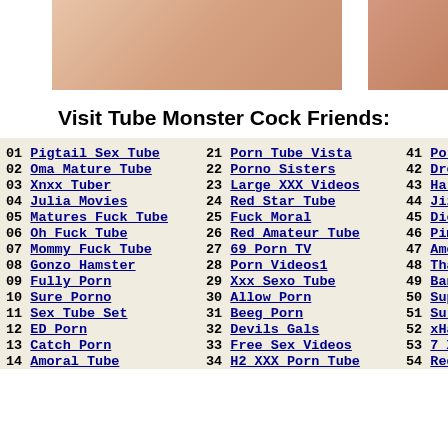[Figure (photo): Two cropped skin-tone photos side by side at the top of the page]
Visit Tube Monster Cock Friends:
01 Pigtail Sex Tube
21 Porn Tube Vista
41 Porno...
02 Oma Mature Tube
22 Porno Sisters
42 Drean...
03 Xnxx Tuber
23 Large XXX Videos
43 Hard...
04 Julia Movies
24 Red Star Tube
44 Jizz...
05 Matures Fuck Tube
25 Fuck Moral
45 Dick...
06 Oh Fuck Tube
26 Red Amateur Tube
46 Pimp...
07 Mommy Fuck Tube
27 69 Porn TV
47 Amora...
08 Gonzo Hamster
28 Porn Videos1
48 Thank...
09 Fully Porn
29 Xxx Sexo Tube
49 Bang...
10 Sure Porno
30 Allow Porn
50 Supe...
11 Sex Tube Set
31 Beeg Porn
51 Sure...
12 ED Porn
32 Devils Gals
52 xHams...
13 Catch Porn
33 Free Sex Videos
53 7 XXX...
14 Amoral Tube
34 H2 XXX Porn Tube
54 Red ...